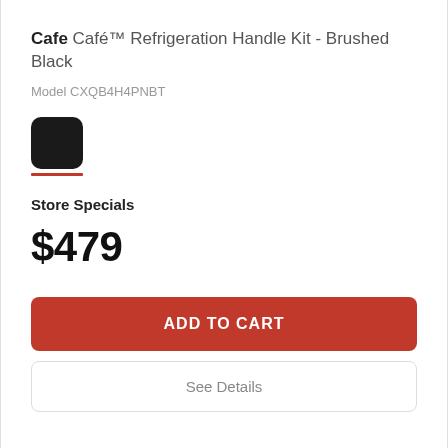Cafe Café™ Refrigeration Handle Kit - Brushed Black
Model CXQB4H4PNBT
[Figure (other): Black color swatch square with rounded corners, with a red underline indicator below it]
Store Specials
$479
ADD TO CART
See Details